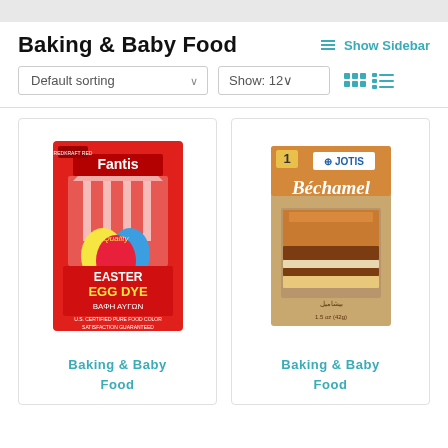Baking & Baby Food
≡ Show Sidebar
Default sorting
Show: 12
[Figure (photo): Fantis Quality Easter Egg Dye package - red box with colorful Easter eggs, U.S. Certified Pure Food Color]
Baking & Baby Food
[Figure (photo): JOTIS Bechamel sauce mix box showing a layered lasagna dish on the front]
Baking & Baby Food